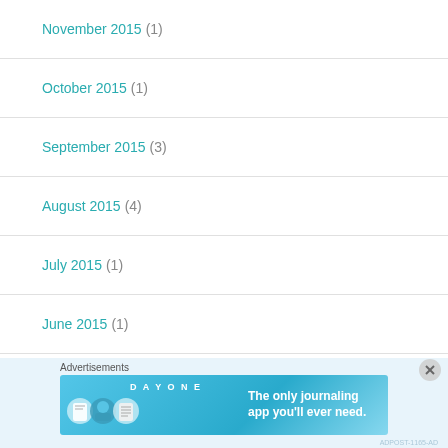November 2015 (1)
October 2015 (1)
September 2015 (3)
August 2015 (4)
July 2015 (1)
June 2015 (1)
April 2015 (3)
March 2015 (2)
Advertisements
[Figure (screenshot): DAY ONE journaling app advertisement banner with text: The only journaling app you'll ever need.]